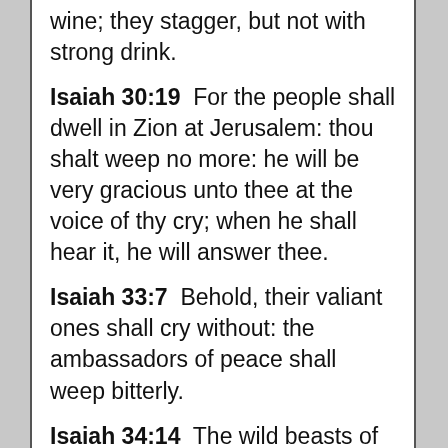wine; they stagger, but not with strong drink.
Isaiah 30:19  For the people shall dwell in Zion at Jerusalem: thou shalt weep no more: he will be very gracious unto thee at the voice of thy cry; when he shall hear it, he will answer thee.
Isaiah 33:7  Behold, their valiant ones shall cry without: the ambassadors of peace shall weep bitterly.
Isaiah 34:14  The wild beasts of the desert shall also meet with the wild beasts of the island, and the satyr shall cry to his fello...